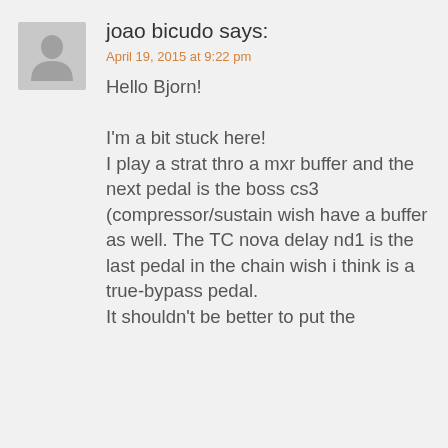[Figure (illustration): Gray default avatar/profile picture placeholder icon]
joao bicudo says:
April 19, 2015 at 9:22 pm
Hello Bjorn!

I'm a bit stuck here!
I play a strat thro a mxr buffer and the next pedal is the boss cs3 (compressor/sustain wish have a buffer as well. The TC nova delay nd1 is the last pedal in the chain wish i think is a true-bypass pedal.
It shouldn't be better to put the